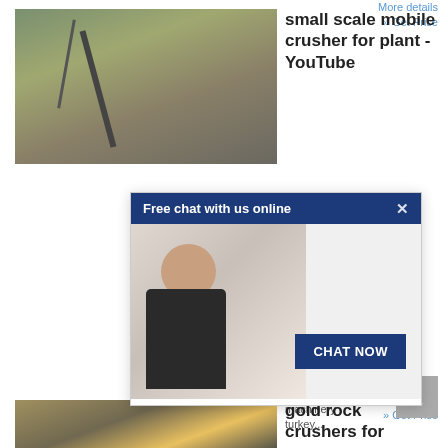More details
» Get Price
[Figure (photo): Industrial mobile crusher machinery at a quarry or plant site, showing a large steel structure with conveyors and rock piles in the background.]
small scale mobile crusher for plant - YouTube
Jun 18, 2015 ... ... nts ... ... e ... icial
[Figure (screenshot): Live chat popup overlay: dark blue header 'Free chat with us online' with close X button, a woman wearing a headset on the left, and a 'CHAT NOW' button on the right.]
or small scale gold mine stone crusher machinery turkey...
More details
» Get Price
[Figure (photo): Gold rock crushers at a mining site, showing heavy yellow machinery and equipment.]
gold rock crushers for